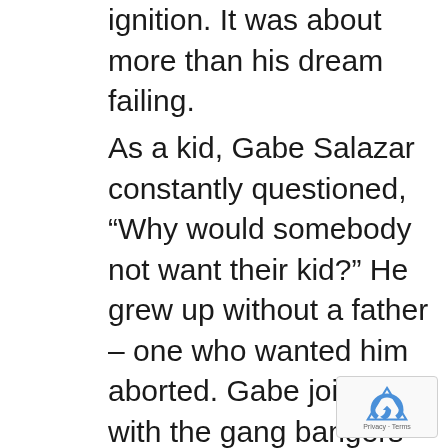ignition. It was about more than his dream failing.
As a kid, Gabe Salazar constantly questioned, “Why would somebody not want their kid?” He grew up without a father – one who wanted him aborted. Gabe joined in with the gang bangers and the street thugs because they gave him a sense of belonging. But broken ribs, a busted lip, and purple bruises all over his body left him betrayed and rejected aga… What turned Gabe’s life from night to